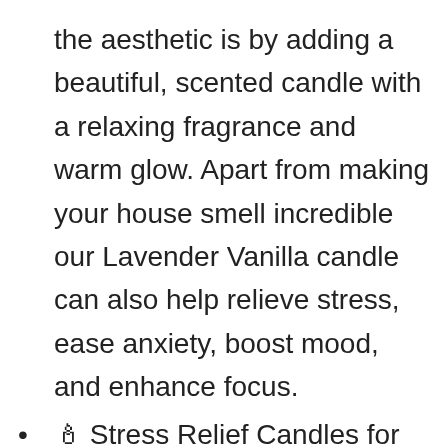the aesthetic is by adding a beautiful, scented candle with a relaxing fragrance and warm glow. Apart from making your house smell incredible our Lavender Vanilla candle can also help relieve stress, ease anxiety, boost mood, and enhance focus.
🕯 Stress Relief Candles for Everyone: Our large Lavender Vanilla scented candle has a soothing aroma and provides a warm and harmonious glow for a stress free ambiance. Arrives